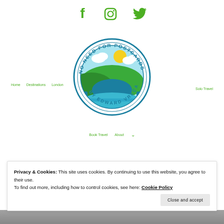[Figure (logo): Social media icons: Facebook, Instagram, Twitter in green]
[Figure (logo): No Need For Postcards by Edward Vreca circular travel blog logo with landscape illustration]
Home   Destinations   London   Solo Travel
Book Travel   About
Privacy & Cookies: This site uses cookies. By continuing to use this website, you agree to their use.
To find out more, including how to control cookies, see here: Cookie Policy
Close and accept